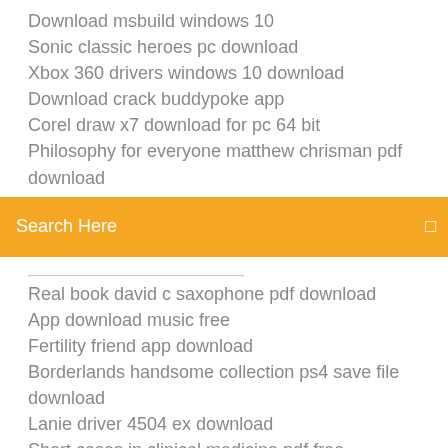Download msbuild windows 10
Sonic classic heroes pc download
Xbox 360 drivers windows 10 download
Download crack buddypoke app
Corel draw x7 download for pc 64 bit
Philosophy for everyone matthew chrisman pdf download
[Figure (screenshot): Orange search bar with text 'Search Here' and a small icon on the right]
(partially visible item)
Real book david c saxophone pdf download
App download music free
Fertility friend app download
Borderlands handsome collection ps4 save file download
Lanie driver 4504 ex download
Short cases in clinical medicine pdf free download
Free google play apps download
Print artist 4.5 torrent download
Download ez drummer untuk fl studio full version
Lenovo g780 download drivers